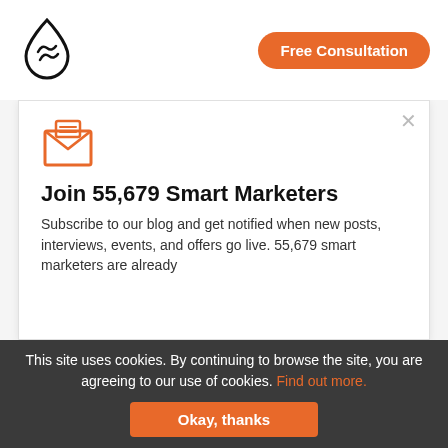[Figure (logo): Single Grain drop/flame logo mark in black outline]
Free Consultation
[Figure (illustration): Orange open envelope with letter icon]
Join 55,679 Smart Marketers
Subscribe to our blog and get notified when new posts, interviews, events, and offers go live. 55,679 smart marketers are already
I hope you are getting a lot of value out of this blog post.
Do you want to learn more about this topic? Schedule a Free Consultation call with a Single Grain Expert now!
This site uses cookies. By continuing to browse the site, you are agreeing to our use of cookies. Find out more.
Okay, thanks